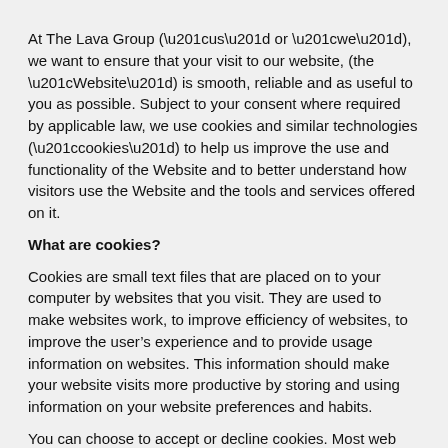At The Lava Group (“us” or “we”), we want to ensure that your visit to our website, (the “Website”) is smooth, reliable and as useful to you as possible. Subject to your consent where required by applicable law, we use cookies and similar technologies (“cookies”) to help us improve the use and functionality of the Website and to better understand how visitors use the Website and the tools and services offered on it.
What are cookies?
Cookies are small text files that are placed on to your computer by websites that you visit. They are used to make websites work, to improve efficiency of websites, to improve the user’s experience and to provide usage information on websites. This information should make your website visits more productive by storing and using information on your website preferences and habits.
You can choose to accept or decline cookies. Most web browsers automatically accept cookies, but you can usually modify your browser settings to decline cookies from